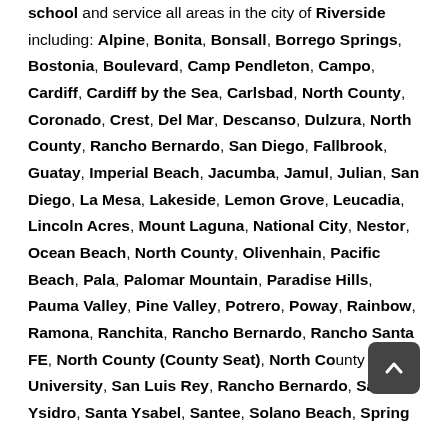school and service all areas in the city of Riverside including: Alpine, Bonita, Bonsall, Borrego Springs, Bostonia, Boulevard, Camp Pendleton, Campo, Cardiff, Cardiff by the Sea, Carlsbad, North County, Coronado, Crest, Del Mar, Descanso, Dulzura, North County, Rancho Bernardo, San Diego, Fallbrook, Guatay, Imperial Beach, Jacumba, Jamul, Julian, San Diego, La Mesa, Lakeside, Lemon Grove, Leucadia, Lincoln Acres, Mount Laguna, National City, Nestor, Ocean Beach, North County, Olivenhain, Pacific Beach, Pala, Palomar Mountain, Paradise Hills, Pauma Valley, Pine Valley, Potrero, Poway, Rainbow, Ramona, Ranchita, Rancho Bernardo, Rancho Santa FE, North County (County Seat), North County State University, San Luis Rey, Rancho Bernardo, San Ysidro, Santa Ysabel, Santee, Solano Beach, Spring...